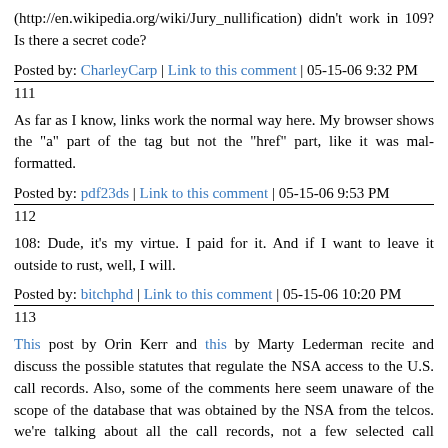(http://en.wikipedia.org/wiki/Jury_nullification) didn't work in 109? Is there a secret code?
Posted by: CharleyCarp | Link to this comment | 05-15-06 9:32 PM
111
As far as I know, links work the normal way here. My browser shows the "a" part of the tag but not the "href" part, like it was mal-formatted.
Posted by: pdf23ds | Link to this comment | 05-15-06 9:53 PM
112
108: Dude, it's my virtue. I paid for it. And if I want to leave it outside to rust, well, I will.
Posted by: bitchphd | Link to this comment | 05-15-06 10:20 PM
113
This post by Orin Kerr and this by Marty Lederman recite and discuss the possible statutes that regulate the NSA access to the U.S. call records. Also, some of the comments here seem unaware of the scope of the database that was obtained by the NSA from the telcos. we're talking about all the call records, not a few selected call records. And the uses appear to go beyond exposing reporters' receiving classified leaks from government sources (c.f. Chris Amanpour, etc.)